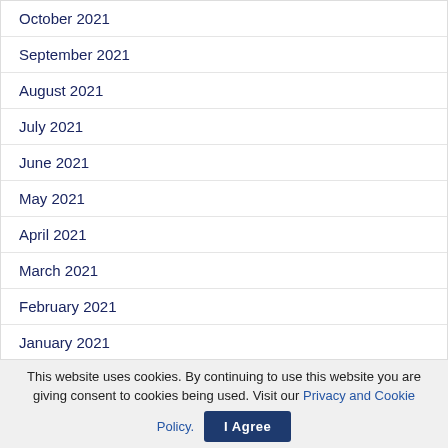October 2021
September 2021
August 2021
July 2021
June 2021
May 2021
April 2021
March 2021
February 2021
January 2021
December 2020
November 2020
This website uses cookies. By continuing to use this website you are giving consent to cookies being used. Visit our Privacy and Cookie Policy. I Agree